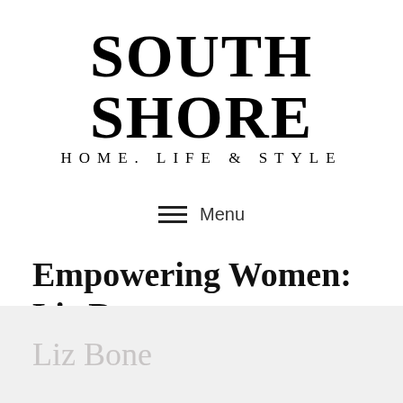SOUTH SHORE
HOME. LIFE & STYLE
≡  Menu
Empowering Women:
Liz Bone
[Figure (photo): Light grey image area with watermark text 'Liz Bone' in grey serif font]